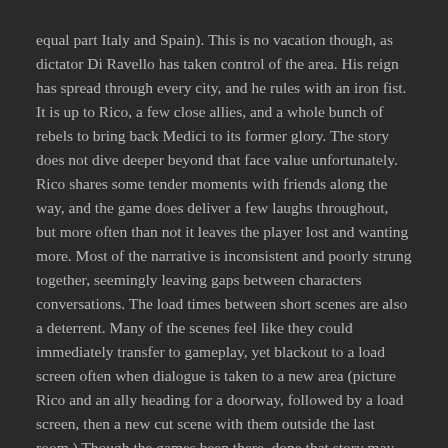equal part Italy and Spain). This is no vacation though, as dictator Di Ravello has taken control of the area. His reign has spread through every city, and he rules with an iron fist. It is up to Rico, a few close allies, and a whole bunch of rebels to bring back Medici to its former glory. The story does not dive deeper beyond that face value unfortunately. Rico shares some tender moments with friends along the way, and the game does deliver a few laughs throughout, but more often than not it leaves the player lost and wanting more. Most of the narrative is inconsistent and poorly strung together, seemingly leaving gaps between characters conversations. The load times between short scenes are also a deterrent. Many of the scenes feel like they could immediately transfer to gameplay, yet blackout to a load screen often when dialogue is taken to a new area (picture Rico and an ally heading for a doorway, followed by a load screen, then a new cut scene with them outside the last room.) Though the games been there, done that story may not allow for a lot of narrative luster, it is incoherent nonetheless.